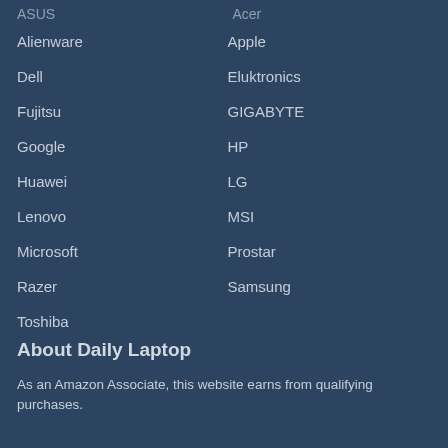Alienware
Apple
Dell
Eluktronics
Fujitsu
GIGABYTE
Google
HP
Huawei
LG
Lenovo
MSI
Microsoft
Prostar
Razer
Samsung
Toshiba
About Daily Laptop
As an Amazon Associate, this website earns from qualifying purchases.